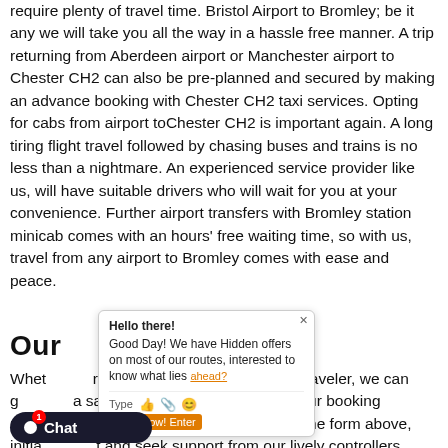require plenty of travel time. Bristol Airport to Bromley; be it any we will take you all the way in a hassle free manner. A trip returning from Aberdeen airport or Manchester airport to Chester CH2 can also be pre-planned and secured by making an advance booking with Chester CH2 taxi services. Opting for cabs from airport toChester CH2 is important again. A long tiring flight travel followed by chasing buses and trains is no less than a nightmare. An experienced service provider like us, will have suitable drivers who will wait for you at your convenience. Further airport transfers with Bromley station minicab comes with an hours' free waiting time, so with us, travel from any airport to Bromley comes with ease and peace.
Our :
Whether you are a frequent traveler or a first-time traveler, we can guarantee you a safe and pleasing experience. Our booking process is as easy as making it online by filling the form above, initiate a live chat and seek support from our lively controllers, make a call and get bookings done or simply email us with your details and we will take it from there. Our bookings allow you to update your travel plans, make cancellations and book